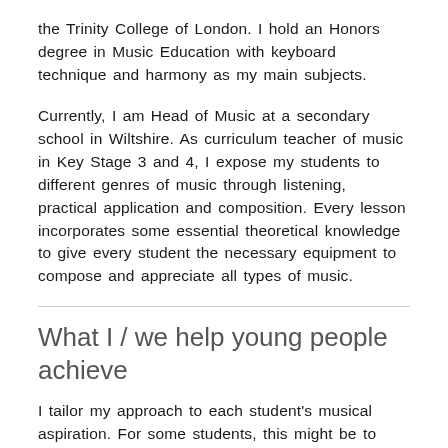the Trinity College of London. I hold an Honors degree in Music Education with keyboard technique and harmony as my main subjects.
Currently, I am Head of Music at a secondary school in Wiltshire. As curriculum teacher of music in Key Stage 3 and 4, I expose my students to different genres of music through listening, practical application and composition. Every lesson incorporates some essential theoretical knowledge to give every student the necessary equipment to compose and appreciate all types of music.
What I / we help young people achieve
I tailor my approach to each student's musical aspiration. For some students, this might be to play popular music as a recreational activity and for others it